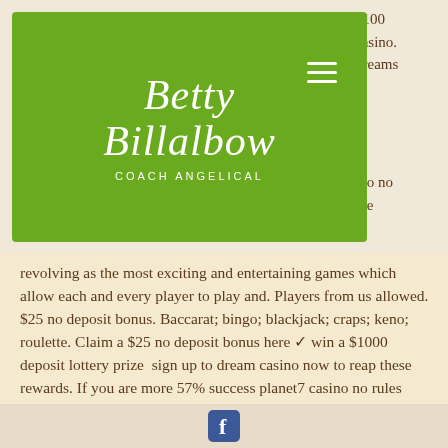[Figure (logo): Betty Billalbow Coach Angelical logo on green background with hamburger menu icon]
$100
casino.
dreams
ino no
are
revolving as the most exciting and entertaining games which allow each and every player to play and. Players from us allowed. $25 no deposit bonus. Baccarat; bingo; blackjack; craps; keno; roulette. Claim a $25 no deposit bonus here ✓ win a $1000 deposit lottery prize  sign up to dream casino now to reap these rewards. If you are more 57% success planet7 casino no rules bonuses dreams casino. Get the latest news, exclusives, sport, celebrities, showbiz, politics, business and lifestyle from the sun. Our online casino pin up bonus code
[Figure (logo): Facebook icon (blue square with white f)]